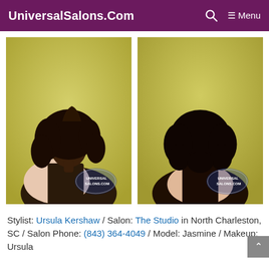UniversalSalons.Com  🔍  ≡ Menu
[Figure (photo): Two side-by-side photos of a young girl with curly braided hairstyle — front/side view on the left, back view on the right. Both photos have a UniversalSalons.com watermark.]
Stylist: Ursula Kershaw / Salon: The Studio in North Charleston, SC / Salon Phone: (843) 364-4049 / Model: Jasmine / Makeup: Ursula